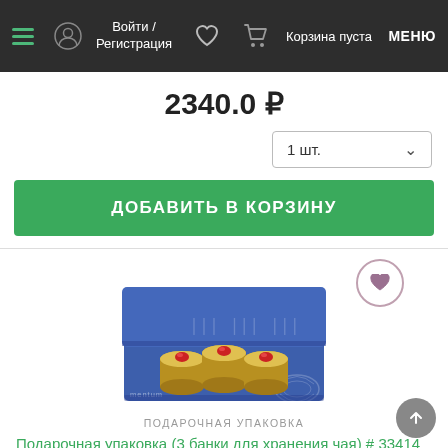Войти / Регистрация  Корзина пуста  МЕНЮ
2340.0 ₽
1 шт.
ДОБАВИТЬ В КОРЗИНУ
[Figure (photo): Blue gift box (open) containing three gold canisters with red gem lids, on white background]
ПОДАРОЧНАЯ УПАКОВКА
Подарочная упаковка (3 банки для хранения чая) # 33414